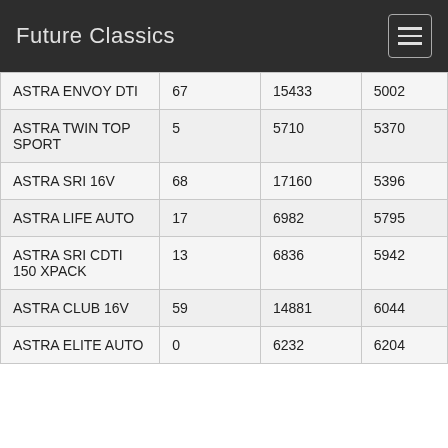Future Classics
| ASTRA ENVOY DTI | 67 | 15433 | 5002 |
| ASTRA TWIN TOP SPORT | 5 | 5710 | 5370 |
| ASTRA SRI 16V | 68 | 17160 | 5396 |
| ASTRA LIFE AUTO | 17 | 6982 | 5795 |
| ASTRA SRI CDTI 150 XPACK | 13 | 6836 | 5942 |
| ASTRA CLUB 16V | 59 | 14881 | 6044 |
| ASTRA ELITE AUTO | 0 | 6232 | 6204 |